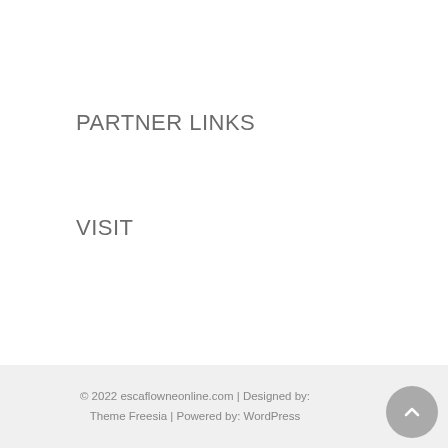PARTNER LINKS
VISIT
© 2022 escaflowneonline.com | Designed by: Theme Freesia | Powered by: WordPress